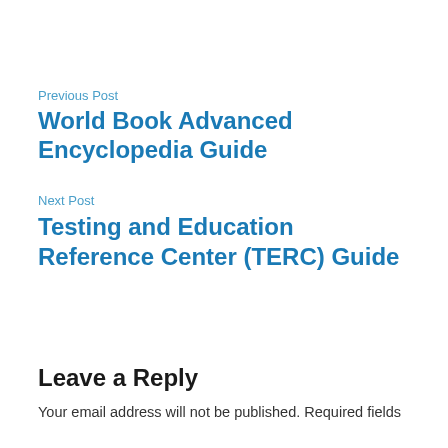Previous Post
World Book Advanced Encyclopedia Guide
Next Post
Testing and Education Reference Center (TERC) Guide
Leave a Reply
Your email address will not be published. Required fields